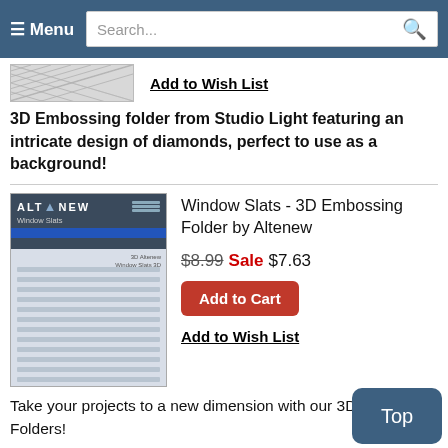≡ Menu  Search...
[Figure (photo): Diamond embossing folder thumbnail image showing a crosshatch/diamond pattern]
Add to Wish List
3D Embossing folder from Studio Light featuring an intricate design of diamonds, perfect to use as a background!
[Figure (photo): Altenew Window Slats 3D Embossing Folder product image showing horizontal slats pattern on a card]
Window Slats - 3D Embossing Folder by Altenew
$8.99 Sale $7.63
Add to Cart
Add to Wish List
Take your projects to a new dimension with our 3D Embossing Folders!
This versatile 3D embossing folder will create the slats across your cardstock, mimicking the look of